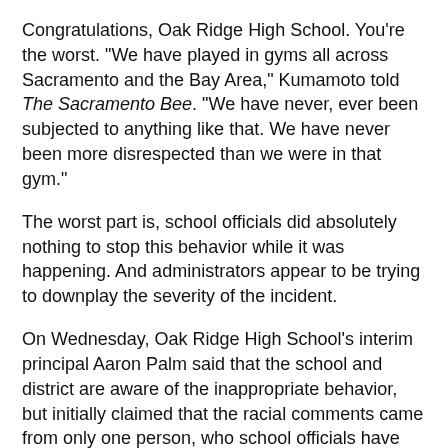Congratulations, Oak Ridge High School. You're the worst. "We have played in gyms all across Sacramento and the Bay Area," Kumamoto told The Sacramento Bee. "We have never, ever been subjected to anything like that. We have never been more disrespected than we were in that gym."
The worst part is, school officials did absolutely nothing to stop this behavior while it was happening. And administrators appear to be trying to downplay the severity of the incident.
On Wednesday, Oak Ridge High School's interim principal Aaron Palm said that the school and district are aware of the inappropriate behavior, but initially claimed that the racial comments came from only one person, who school officials have not been able to identify. Well, that's certainly inconvenient.
In a separate email, Palm acknowledged that "a portion of our student body was chanting the terms 'ugly' and 'cankles' to the opposing players." But nothing about the racial slurs?
For what it's worth, leaders of the Oak Ridge student